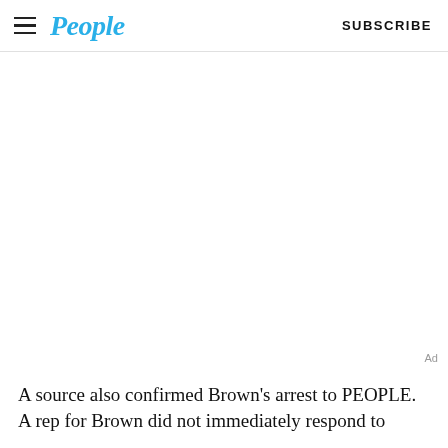People | SUBSCRIBE
[Figure (other): Advertisement placeholder area (blank white space)]
A source also confirmed Brown’s arrest to PEOPLE. A rep for Brown did not immediately respond to